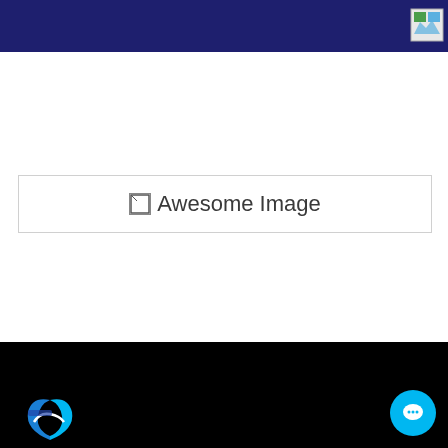[Figure (screenshot): Broken image placeholder box with checkbox icon and text 'Awesome Image']